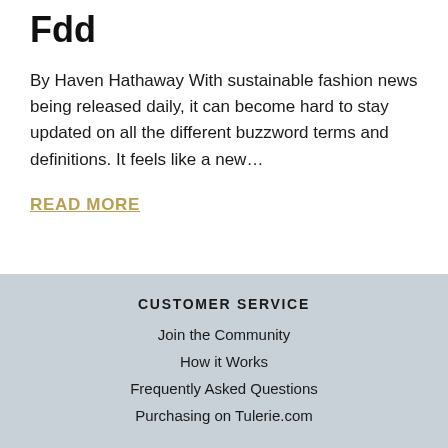Fdd
By Haven Hathaway With sustainable fashion news being released daily, it can become hard to stay updated on all the different buzzword terms and definitions. It feels like a new…
READ MORE
CUSTOMER SERVICE
Join the Community
How it Works
Frequently Asked Questions
Purchasing on Tulerie.com